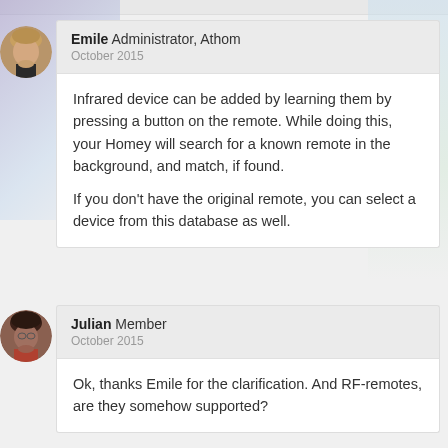Emile Administrator, Athom
October 2015
Infrared device can be added by learning them by pressing a button on the remote. While doing this, your Homey will search for a known remote in the background, and match, if found.

If you don't have the original remote, you can select a device from this database as well.
Julian Member
October 2015
Ok, thanks Emile for the clarification. And RF-remotes, are they somehow supported?